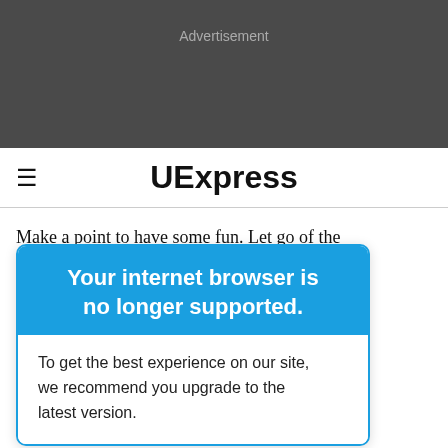Advertisement
UExpress
Make a point to have some fun. Let go of the ... nd success. ... s who ... eel as though a ... lers if you start
Your internet browser is no longer supported.
To get the best experience on our site, we recommend you upgrade to the latest version.